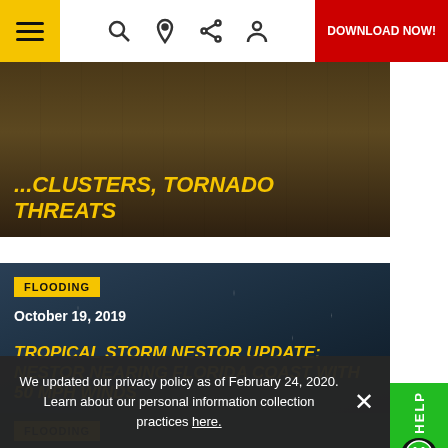Navigation bar with hamburger menu, search, location, share, profile icons, and DOWNLOAD NOW! button
[Figure (photo): Dark brown stormy background with yellow bold italic headline text about storm clusters and tornado threats, partially cut off at top]
[Figure (photo): Rain-streaked window with trees visible through glass, dark blue-gray tones, article card for Tropical Storm Nestor flooding article dated October 19 2019]
FLOODING
October 19, 2019
TROPICAL STORM NESTOR UPDATE: NESTOR NEARING FLORIDA COAST WITH 50 MPH WINDS
FLOODING
We updated our privacy policy as of February 24, 2020. Learn about our personal information collection practices here.